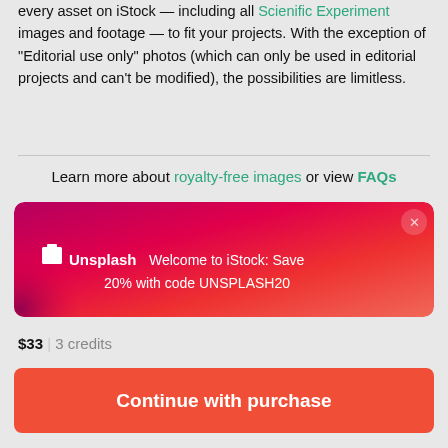every asset on iStock — including all Scienific Experiment images and footage — to fit your projects. With the exception of "Editorial use only" photos (which can only be used in editorial projects and can't be modified), the possibilities are limitless.
Learn more about royalty-free images or view FAQs
[Figure (screenshot): Unsplash promotional banner on iStock: pink/red gradient background with Unsplash logo and text 'Welcome to iStock: Save 20% with code UNSPLASH20']
$33 | 3 credits
Continue with purchase